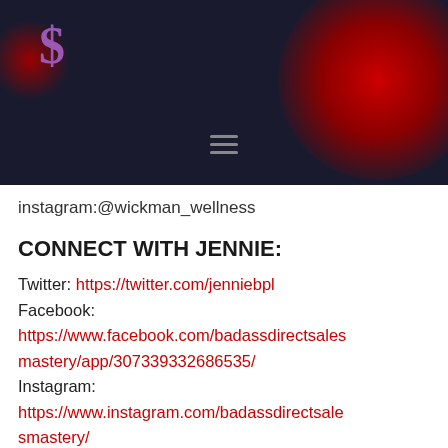[Figure (logo): Purple stylized S logo on dark navy background with red decorative blob, hamburger menu icon]
instagram:@wickman_wellness
CONNECT WITH JENNIE:
Twitter: https://twitter.com/jenniebpl
Facebook: https://www.facebook.com/badassdirectsalesmastery/app/307339332686535/
Instagram: https://www.instagram.com/badassdirectsalesmastery/
Website: https://badassdirectsalesmastery.com/